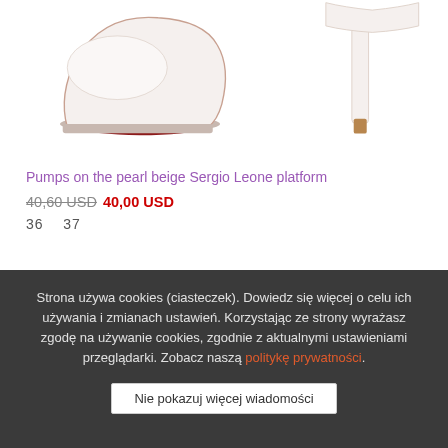[Figure (photo): Two white platform high-heel shoes (pumps) partially visible at the top of the page — one on the left showing the toe and platform, one on the right showing the heel.]
Pumps on the pearl beige Sergio Leone platform
40,60 USD 40,00 USD
36   37
Strona używa cookies (ciasteczek). Dowiedz się więcej o celu ich używania i zmianach ustawień. Korzystając ze strony wyrażasz zgodę na używanie cookies, zgodnie z aktualnymi ustawieniami przeglądarki. Zobacz naszą politykę prywatności.
Nie pokazuj więcej wiadomości